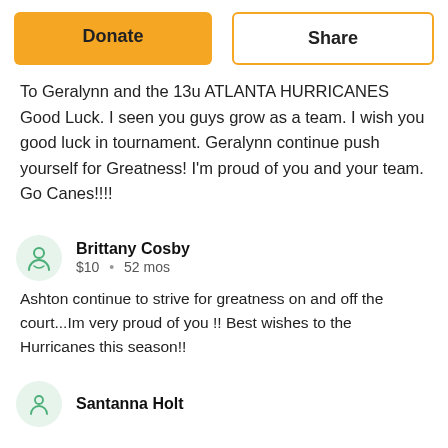Donate
Share
To Geralynn and the 13u ATLANTA HURRICANES Good Luck. I seen you guys grow as a team. I wish you good luck in tournament. Geralynn continue push yourself for Greatness! I'm proud of you and your team. Go Canes!!!!
Brittany Cosby
$10 • 52 mos
Ashton continue to strive for greatness on and off the court...Im very proud of you !! Best wishes to the Hurricanes this season!!
Santanna Holt